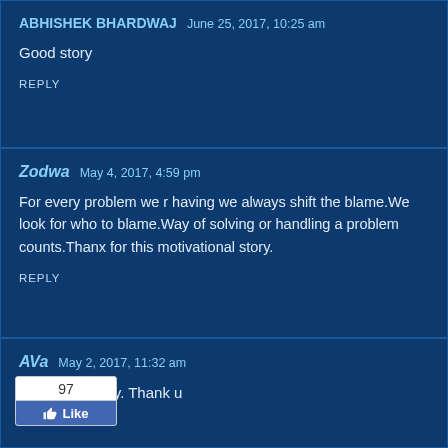ABHISHEK BHARDWAJ   June 25, 2017, 10:25 am
Good story
REPLY
Zodwa   May 4, 2017, 4:59 pm
For every problem we r having we always shift the blame.We look for who to blame.Way of solving or handling a problem counts.Thanx for this motivational story.
REPLY
AVa   May 2, 2017, 11:32 am
Awesome story. Thank u
[Figure (other): Facebook Like widget showing count of 97 and a Like button]